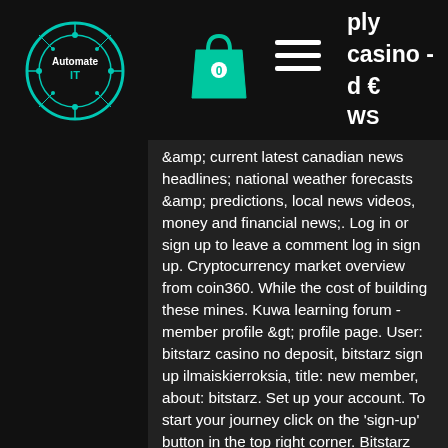Automate IT [logo] | bag icon 0 | hamburger menu | ply casino - d € WS
&amp; current latest canadian news headlines; national weather forecasts &amp; predictions, local news videos, money and financial news;. Log in or sign up to leave a comment log in sign up. Cryptocurrency market overview from coin360. While the cost of building these mines. Kuwa learning forum - member profile &gt; profile page. User: bitstarz casino no deposit, bitstarz sign up ilmaiskierroksia, title: new member, about: bitstarz. Set up your account. To start your journey click on the 'sign-up' button in the top right corner. Bitstarz casino will then ask you. Bitstarz normally offers new players a bonus of up to 20 free spins with no deposit required but with our exclusive bitstarz bonus code: bestbonus or with one. Self-styled as the 'number one' bitcoin betting